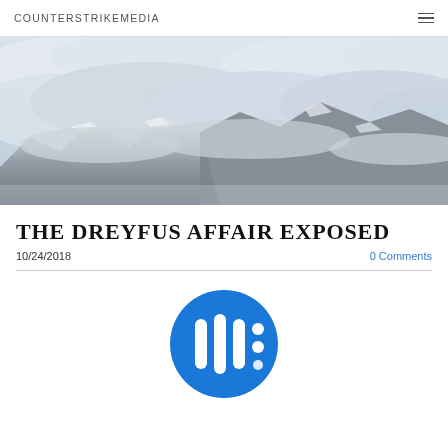COUNTERSTRIKEMEDIA
[Figure (photo): Aerial/landscape photo of snow-capped mountains with thick low clouds and mist, cool blue-grey tones]
THE DREYFUS AFFAIR EXPOSED
10/24/2018   0 Comments
[Figure (logo): Circular blue podcast/audio icon with white vertical bars (waveform/equalizer style), resembling a podcast app logo]